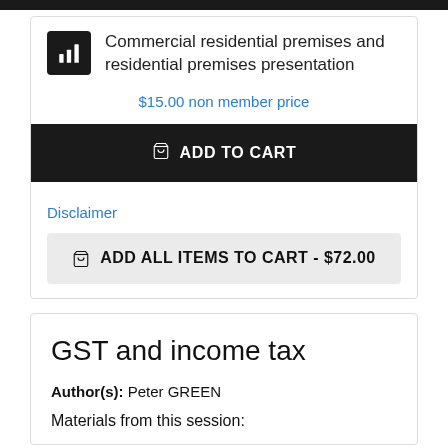Commercial residential premises and residential premises presentation
$15.00 non member price
ADD TO CART
Disclaimer
ADD ALL ITEMS TO CART - $72.00
GST and income tax
Author(s): Peter GREEN
Materials from this session: